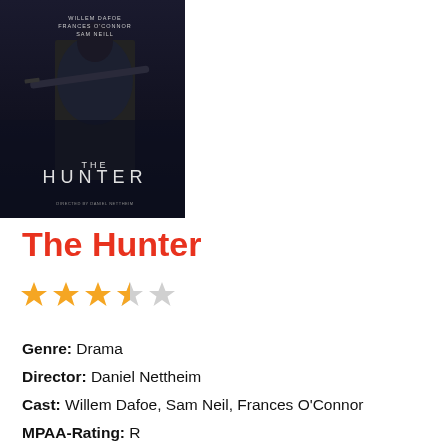[Figure (photo): Movie poster for 'The Hunter' showing a dark figure with a weapon, text: WILLEM DAFOE, FRANCES O'CONNOR, SAM NEILL, THE HUNTER]
The Hunter
[Figure (other): 3.5 out of 5 stars rating — three full gold stars, one half gold star, one empty star]
Genre: Drama
Director: Daniel Nettheim
Cast: Willem Dafoe, Sam Neil, Frances O'Connor
MPAA-Rating: R
Release Date: April 6th, 2012
[Figure (other): Red button labeled VIEW THE TRAILER]
It's been nearly twenty-five years since Bruce Willis tore up the screen as John McClane in the unforgettable action thriller, discount